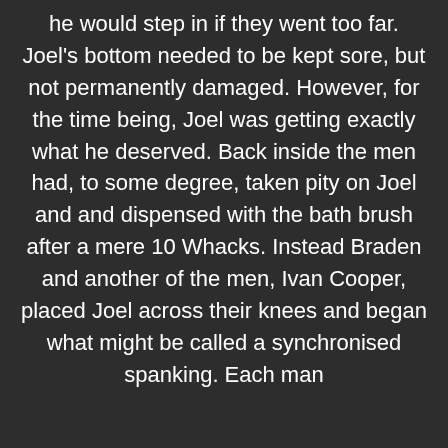he would step in if they went too far. Joel's bottom needed to be kept sore, but not permanently damaged. However, for the time being, Joel was getting exactly what he deserved. Back inside the men had, to some degree, taken pity on Joel and and dispensed with the bath brush after a mere 10 Whacks. Instead Braden and another of the men, Ivan Cooper, placed Joel across their knees and began what might be called a synchronised spanking. Each man